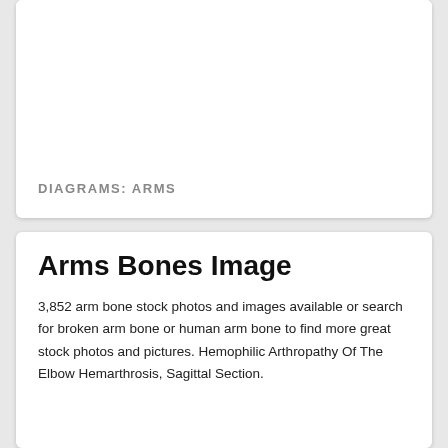[Figure (other): Top card area with white background, partially visible image area (blank/white) with a label at the bottom reading DIAGRAMS: ARMS]
DIAGRAMS: ARMS
Arms Bones Image
3,852 arm bone stock photos and images available or search for broken arm bone or human arm bone to find more great stock photos and pictures. Hemophilic Arthropathy Of The Elbow Hemarthrosis, Sagittal Section.